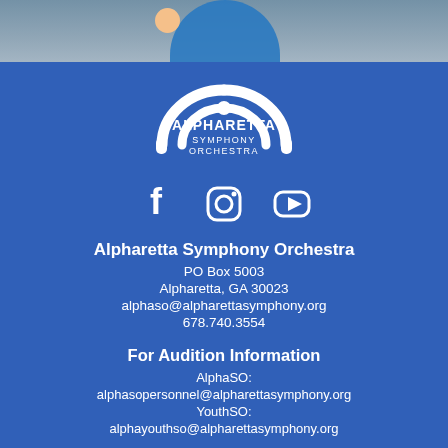[Figure (photo): Partial photo of a person wearing a blue shirt at the top of the page]
[Figure (logo): Alpharetta Symphony Orchestra logo — white arch/rainbow shape with a circle, text reads ALPHARETTA SYMPHONY ORCHESTRA]
[Figure (infographic): Three white social media icons: Facebook (f), Instagram (camera), YouTube (play button)]
Alpharetta Symphony Orchestra
PO Box 5003
Alpharetta, GA 30023
alphaso@alpharettasymphony.org
678.740.3554
For Audition Information
AlphaSO:
alphasopersonnel@alpharettasymphony.org
YouthSO:
alphayouthso@alpharettasymphony.org